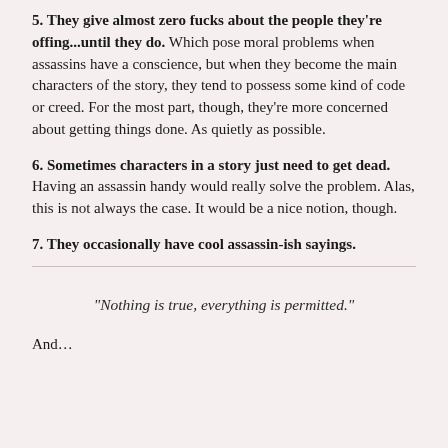5. They give almost zero fucks about the people they're offing...until they do. Which pose moral problems when assassins have a conscience, but when they become the main characters of the story, they tend to possess some kind of code or creed. For the most part, though, they're more concerned about getting things done. As quietly as possible.
6. Sometimes characters in a story just need to get dead. Having an assassin handy would really solve the problem. Alas, this is not always the case. It would be a nice notion, though.
7. They occasionally have cool assassin-ish sayings.
“Nothing is true, everything is permitted.”
And…